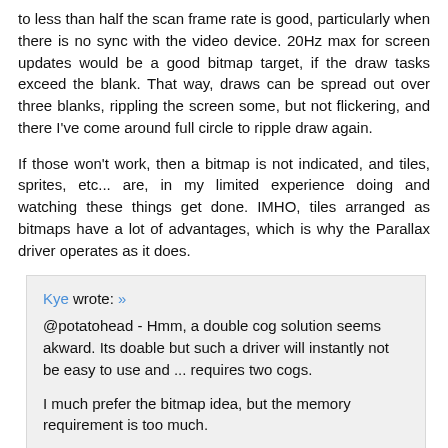to less than half the scan frame rate is good, particularly when there is no sync with the video device. 20Hz max for screen updates would be a good bitmap target, if the draw tasks exceed the blank. That way, draws can be spread out over three blanks, rippling the screen some, but not flickering, and there I've come around full circle to ripple draw again.
If those won't work, then a bitmap is not indicated, and tiles, sprites, etc... are, in my limited experience doing and watching these things get done. IMHO, tiles arranged as bitmaps have a lot of advantages, which is why the Parallax driver operates as it does.
Kye wrote: » @potatohead - Hmm, a double cog solution seems akward. Its doable but such a driver will instantly not be easy to use and ... requires two cogs.

I much prefer the bitmap idea, but the memory requirement is too much.